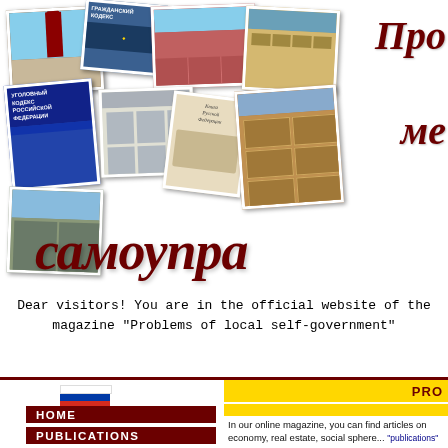[Figure (illustration): Header banner with photo collage of Russian buildings, Kremlin tower, law books (Grazhdansky Kodeks, Ugolovny Kodeks Rossiyskoy Federatsii), and various Moscow architecture photos. Overlaid with large italic dark red Cyrillic text 'Про', 'ме', and 'самоупра'. This is the masthead for the Russian magazine 'Problems of local self-government'.]
Dear visitors! You are in the official website of the magazine "Problems of local self-government"
[Figure (illustration): Russian tricolor flag (white, blue, red horizontal stripes)]
HOME
PUBLICATIONS
ABOUT US
PRO
In our online magazine, you can find articles on economy, real estate, social sphere... "publications" (articles located, as in...